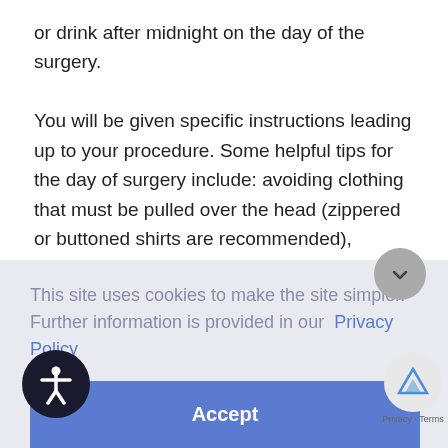or drink after midnight on the day of the surgery.
You will be given specific instructions leading up to your procedure. Some helpful tips for the day of surgery include: avoiding clothing that must be pulled over the head (zippered or buttoned shirts are recommended), leaving jewelry and valuables at home, and keeping the face and hair free of makeup and hair sprays or gels, respectively.
[Figure (screenshot): Cookie consent banner overlay with text 'This site uses cookies to make the site simpler. Further information is provided in our Privacy Policy' and an Accept button. Partially obscures underlying page content. Also shows accessibility icon, scroll button, and reCAPTCHA badge.]